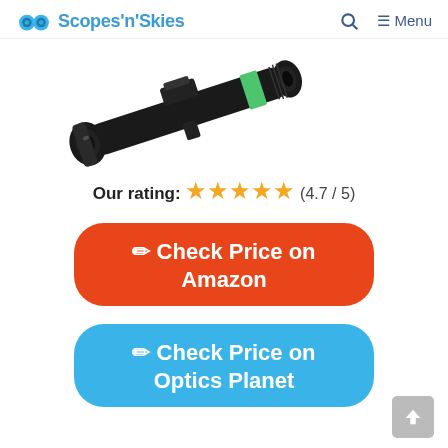Scopes'n'Skies  [search icon]  ≡ Menu
[Figure (photo): A black rifle scope with green accent ring, photographed diagonally on a white background, showing the objective lens and adjustment turrets.]
Our rating: ★★★★★ (4.7 / 5)
☛ Check Price on Amazon
☛ Check Price on Optics Planet